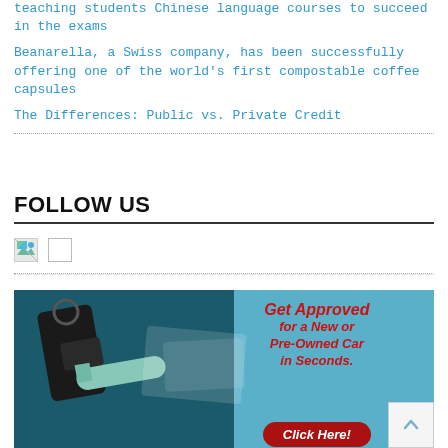teaching students Chinese language courses to succeed in the exams
Beanarella, a Swiss company, has been successfully offering one of the world’s first compostable coffee capsules
The Differences: Public vs. Private Credit
FOLLOW US
[Figure (other): Two small social media icon images (one broken image icon with landscape thumbnail, one blank white square icon)]
[Figure (photo): Advertisement banner showing car keys on a surface with text: Get Approved for a New or Pre-Owned Car in Seconds. Click Here! button at bottom.]